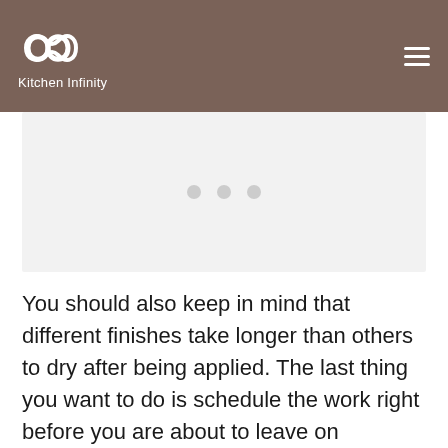Kitchen Infinity
[Figure (other): Image placeholder with three dots indicating a loading carousel or slider]
You should also keep in mind that different finishes take longer than others to dry after being applied. The last thing you want to do is schedule the work right before you are about to leave on vacation. Make sure that there is someone available at your